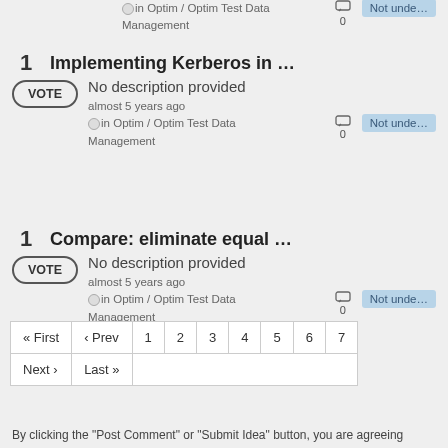in Optim / Optim Test Data Management  0  Not unde...
1  Implementing Kerberos in ...
VOTE  No description provided  almost 5 years ago  in Optim / Optim Test Data Management  0  Not unde...
1  Compare: eliminate equal ...
VOTE  No description provided  almost 5 years ago  in Optim / Optim Test Data Management  0  Not unde...
| « First | ‹ Prev | 1 | 2 | 3 | 4 | 5 | 6 | 7 |
| --- | --- | --- | --- | --- | --- | --- | --- | --- |
| Next › | Last » |  |  |  |  |  |  |  |
By clicking the "Post Comment" or "Submit Idea" button, you are agreeing